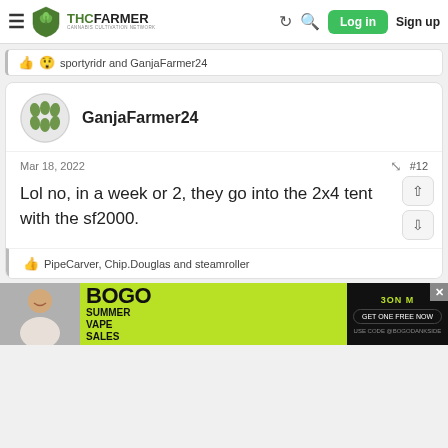THC FARMER - Cannabis Cultivation Network - Log in - Sign up
sportyridr and GanjaFarmer24
GanjaFarmer24
Mar 18, 2022  #12
Lol no, in a week or 2, they go into the 2x4 tent with the sf2000.
PipeCarver, Chip.Douglas and steamroller
[Figure (screenshot): BOGO Summer Vape Sales advertisement banner with a person smiling on left side]